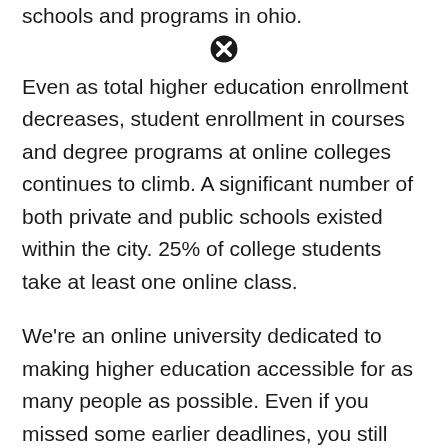schools and programs in ohio.
Even as total higher education enrollment decreases, student enrollment in courses and degree programs at online colleges continues to climb. A significant number of both private and public schools existed within the city. 25% of college students take at least one online class.
We're an online university dedicated to making higher education accessible for as many people as possible. Even if you missed some earlier deadlines, you still have a. Cleveland heights high school, cleveland heights.
This is a rigorous school that will test you at every level, but comparable to [icon]:her famously rigorous